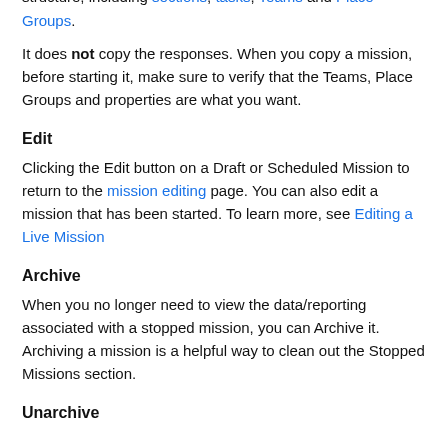When you copy a mission, it copies the entire mission structure, including sections, tasks, Teams and Place Groups.
It does not copy the responses. When you copy a mission, before starting it, make sure to verify that the Teams, Place Groups and properties are what you want.
Edit
Clicking the Edit button on a Draft or Scheduled Mission to return to the mission editing page. You can also edit a mission that has been started. To learn more, see Editing a Live Mission
Archive
When you no longer need to view the data/reporting associated with a stopped mission, you can Archive it. Archiving a mission is a helpful way to clean out the Stopped Missions section.
Unarchive